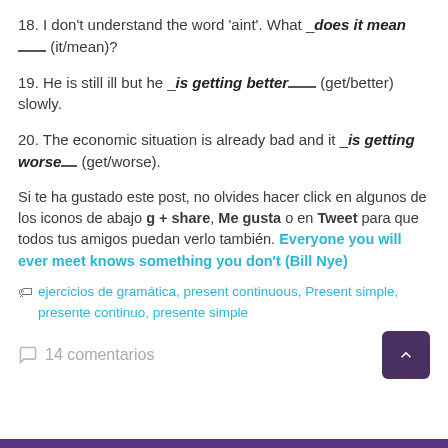18. I don't understand the word 'aint'. What _does it mean_____ (it/mean)?
19. He is still ill but he _is getting better____ (get/better) slowly.
20. The economic situation is already bad and it _is getting worse___ (get/worse).
Si te ha gustado este post, no olvides hacer click en algunos de los iconos de abajo g + share, Me gusta o en Tweet para que todos tus amigos puedan verlo también. Everyone you will ever meet knows something you don't (Bill Nye)
ejercicios de gramática, present continuous, Present simple, presente continuo, presente simple
14 comentarios